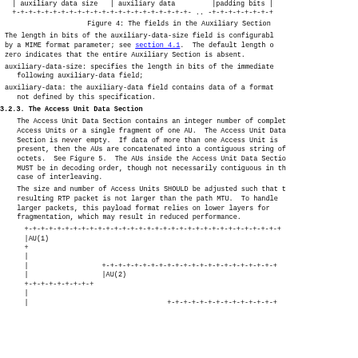[Figure (schematic): ASCII diagram showing fields in the Auxiliary Section: auxiliary data size, auxiliary data, and padding bits separated by +-+-+- borders]
Figure 4: The fields in the Auxiliary Section
The length in bits of the auxiliary-data-size field is configurable by a MIME format parameter; see section 4.1.  The default length o zero indicates that the entire Auxiliary Section is absent.
auxiliary-data-size: specifies the length in bits of the immediate following auxiliary-data field;
auxiliary-data: the auxiliary-data field contains data of a format not defined by this specification.
3.2.3.  The Access Unit Data Section
The Access Unit Data Section contains an integer number of complet Access Units or a single fragment of one AU.  The Access Unit Data Section is never empty.  If data of more than one Access Unit is present, then the AUs are concatenated into a contiguous string of octets.  See Figure 5.  The AUs inside the Access Unit Data Sectio MUST be in decoding order, though not necessarily contiguous in th case of interleaving.
The size and number of Access Units SHOULD be adjusted such that t resulting RTP packet is not larger than the path MTU.  To handle larger packets, this payload format relies on lower layers for fragmentation, which may result in reduced performance.
[Figure (schematic): ASCII diagram showing Access Unit Data Section with AU(1) and AU(2) fields arranged in +-+-+- bordered rows]